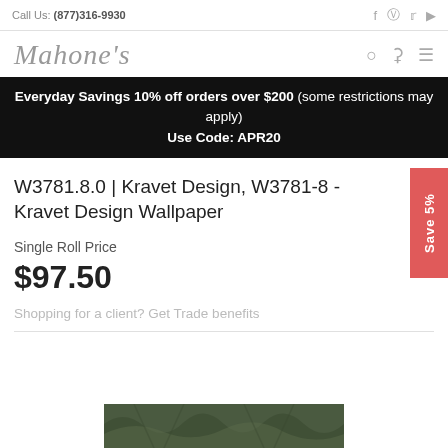Call Us: (877)316-9930
[Figure (logo): Mahone's cursive logo with search, cart, and menu icons]
Everyday Savings 10% off orders over $200 (some restrictions may apply) Use Code: APR20
W3781.8.0 | Kravet Design, W3781-8 - Kravet Design Wallpaper
Single Roll Price
$97.50
Shopping for a client? Get Trade benefits